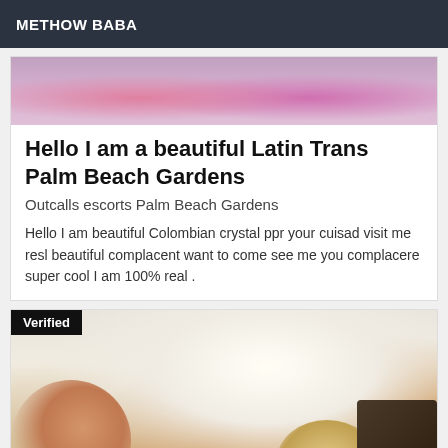METHOW BABA
[Figure (photo): Top portion of a photo showing a person in a pink bikini top, cropped at the top of the page]
Hello I am a beautiful Latin Trans Palm Beach Gardens
Outcalls escorts Palm Beach Gardens
Hello I am beautiful Colombian crystal ppr your cuisad visit me resl beautiful complacent want to come see me you complacere super cool I am 100% real .
[Figure (photo): Photo of a person lying on a bed with a mirrored/reversed phone number 0625204763 visible, with a dark pillow and light background. Has a 'Verified' badge overlay.]